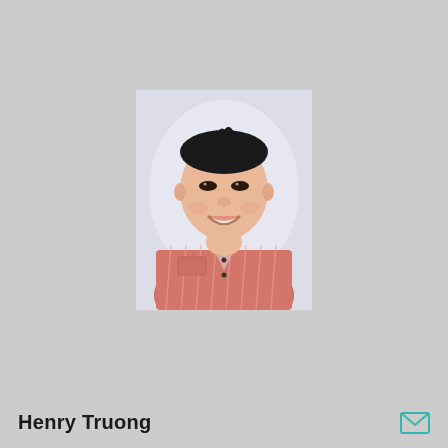[Figure (photo): Headshot of a young Asian man smiling, wearing a pink striped button-up shirt, against a light lavender/white background.]
Henry Truong